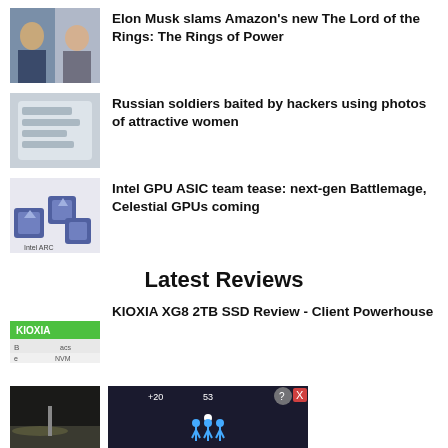[Figure (photo): Thumbnail showing Elon Musk and a woman]
Elon Musk slams Amazon's new The Lord of the Rings: The Rings of Power
[Figure (photo): Thumbnail showing a phone with text messages]
Russian soldiers baited by hackers using photos of attractive women
[Figure (photo): Thumbnail showing Intel Arc GPU graphics cards]
Intel GPU ASIC team tease: next-gen Battlemage, Celestial GPUs coming
Latest Reviews
[Figure (photo): Thumbnail showing KIOXIA SSD product]
KIOXIA XG8 2TB SSD Review - Client Powerhouse
[Figure (photo): Thumbnail of outdoor scene]
[Figure (screenshot): Advertisement overlay with Hold and Move game, with close button]